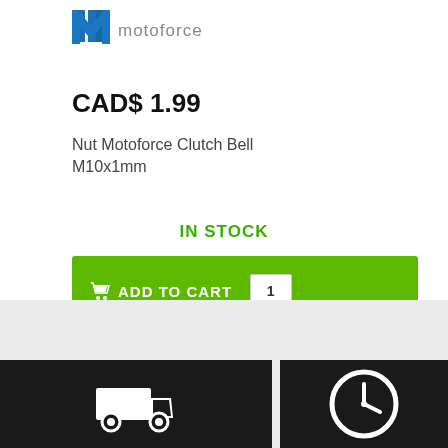[Figure (logo): Motoforce logo with blue stylized M icon and 'motoforce' text in gray]
CAD$ 1.99
Nut Motoforce Clutch Bell M10x1mm
IN STOCK
[Figure (other): Green Add to Cart button with shopping cart icon and quantity input box showing 1]
[Figure (other): Gray background section]
[Figure (other): Black section with white delivery truck icon on the left]
[Figure (other): Black section with white clock/time icon on the right]